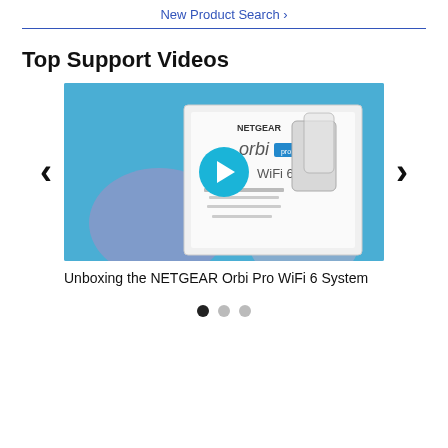New Product Search >
Top Support Videos
[Figure (screenshot): Video thumbnail showing a person holding a NETGEAR Orbi Pro WiFi 6 System box against a blue background, with a play button overlay in the center.]
Unboxing the NETGEAR Orbi Pro WiFi 6 System